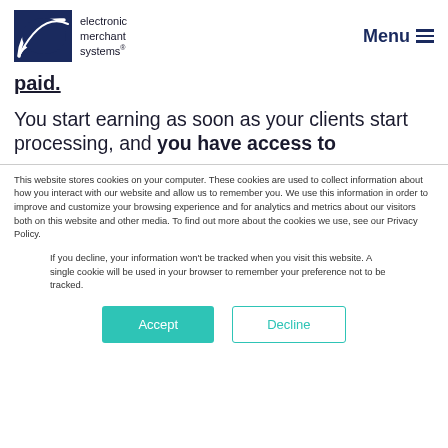electronic merchant systems | Menu
paid.
You start earning as soon as your clients start processing, and you have access to
This website stores cookies on your computer. These cookies are used to collect information about how you interact with our website and allow us to remember you. We use this information in order to improve and customize your browsing experience and for analytics and metrics about our visitors both on this website and other media. To find out more about the cookies we use, see our Privacy Policy.
If you decline, your information won't be tracked when you visit this website. A single cookie will be used in your browser to remember your preference not to be tracked.